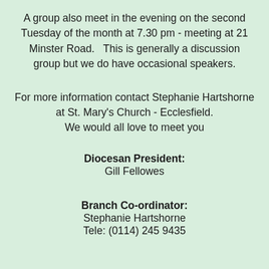A group also meet in the evening on the second Tuesday of the month at 7.30 pm - meeting at 21 Minster Road.   This is generally a discussion group but we do have occasional speakers.
For more information contact Stephanie Hartshorne at St. Mary's Church - Ecclesfield. We would all love to meet you
Diocesan President:
Gill Fellowes
Branch Co-ordinator:
Stephanie Hartshorne
Tele: (0114) 245 9435